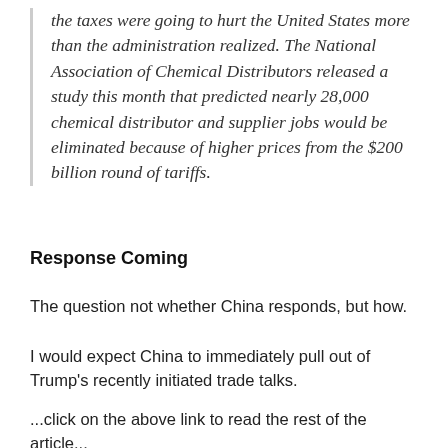the taxes were going to hurt the United States more than the administration realized. The National Association of Chemical Distributors released a study this month that predicted nearly 28,000 chemical distributor and supplier jobs would be eliminated because of higher prices from the $200 billion round of tariffs.
Response Coming
The question not whether China responds, but how.
I would expect China to immediately pull out of Trump's recently initiated trade talks.
...click on the above link to read the rest of the article...